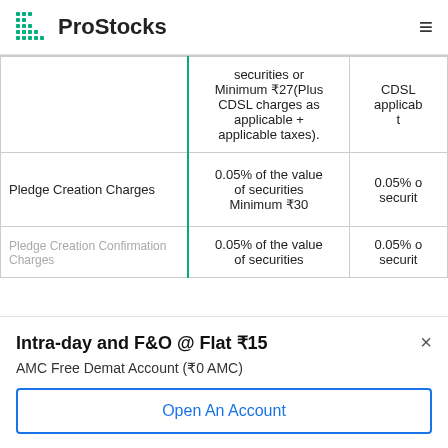ProStocks
|  | ProStocks | Others |
| --- | --- | --- |
|  | securities or Minimum ₹27(Plus CDSL charges as applicable + applicable taxes). | CDSL applicab t |
| Pledge Creation Charges | 0.05% of the value of securities Minimum ₹30 | 0.05% o securit |
| Pledge Creation Confirmation Charges | 0.05% of the value of securities | 0.05% o securit |
Intra-day and F&O @ Flat ₹15
AMC Free Demat Account (₹0 AMC)
Open An Account